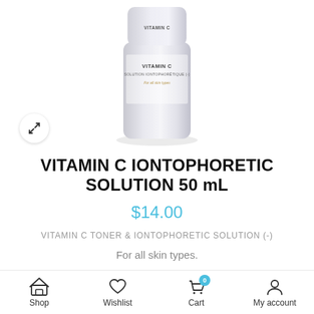[Figure (photo): Product photo of a white/silver cylindrical bottle labeled VITAMIN C IONTOPHORETIC SOLUTION, for all skin types, partially cropped at top]
VITAMIN C IONTOPHORETIC SOLUTION 50 mL
$14.00
VITAMIN C TONER & IONTOPHORETIC SOLUTION (-)
For all skin types.
Recommended for dry/dehydrated, mature and problematic with uneven tone skin.
Shop  Wishlist  Cart  My account